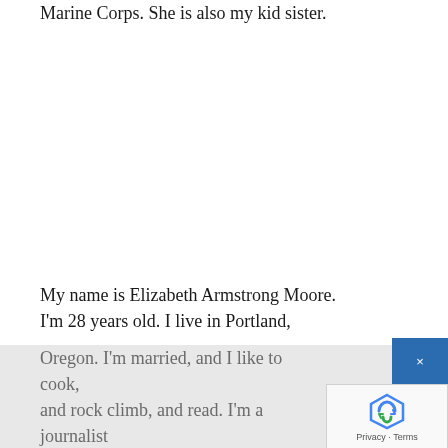Marine Corps. She is also my kid sister.
My name is Elizabeth Armstrong Moore. I'm 28 years old. I live in Portland, Oregon. I'm married, and I like to cook, and rock climb, and read. I'm a journalist and a piano teacher, and the only bumper sticker on our only car says Oregon Public Broadcasting.